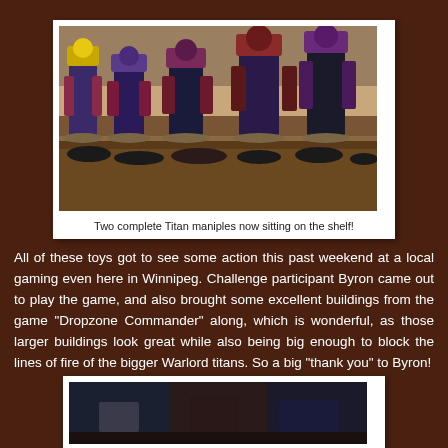[Figure (photo): Photo of two complete Titan maniples — painted miniature war robots on a gaming shelf, multiple large mechs in purple, black, red, and yellow colors arranged on display]
Two complete Titan maniples now sitting on the shelf!
All of these toys got to see some action this past weekend at a local gaming even here in Winnipeg. Challenge participant Byron came out to play the game, and also brought some excellent buildings from the game "Dropzone Commander" along, which is wonderful, as those larger buildings look great while also being big enough to block the lines of fire of the bigger Warlord titans. So a big "thank you" to Byron!
[Figure (photo): Partial photo at bottom of page showing game pieces or terrain, partially cut off]